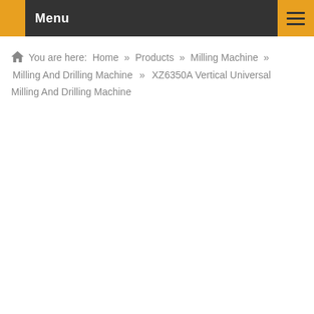Menu
You are here: Home » Products » Milling Machine » Milling And Drilling Machine » XZ6350A Vertical Universal Milling And Drilling Machine